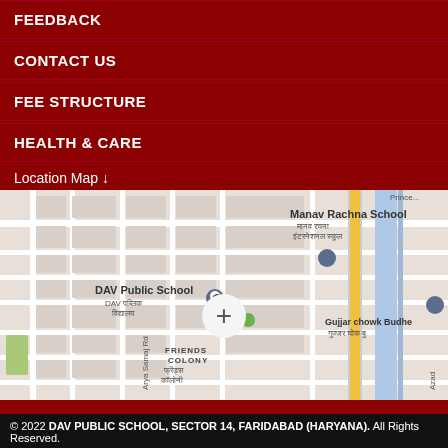FEEDBACK
CONTACT US
FEE STRUCTURE
HEALTH & CARE
Location Map ↓
[Figure (map): Google Maps view showing DAV Public School, Manav Rachna School, Friends Colony, Gujjar chowk Budhe area with streets and landmarks]
© 2022 DAV PUBLIC SCHOOL, SECTOR 14, FARIDABAD (HARYANA). All Rights Reserved.